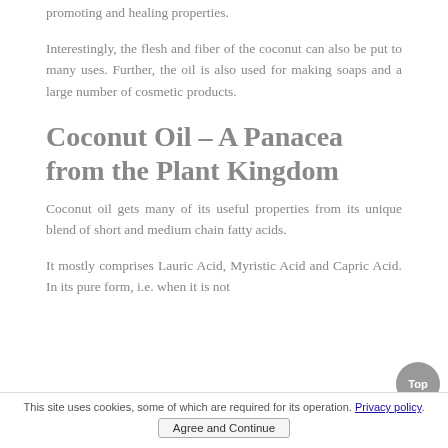promoting and healing properties.
Interestingly, the flesh and fiber of the coconut can also be put to many uses. Further, the oil is also used for making soaps and a large number of cosmetic products.
Coconut Oil – A Panacea from the Plant Kingdom
Coconut oil gets many of its useful properties from its unique blend of short and medium chain fatty acids.
It mostly comprises Lauric Acid, Myristic Acid and Capric Acid. In its pure form, i.e. when it is not
This site uses cookies, some of which are required for its operation. Privacy policy. Agree and Continue